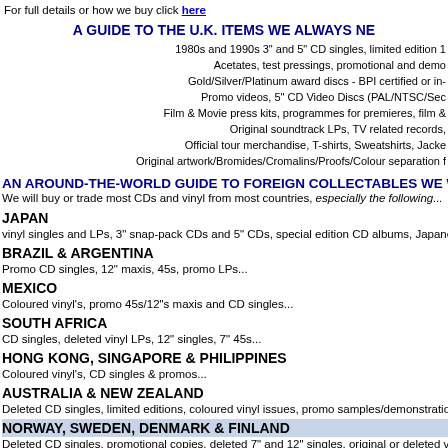You can also call us on... and email buyers@site.com. For full details or how we buy click here
A GUIDE TO THE U.K. ITEMS WE ALWAYS NE...
1980s and 1990s 3" and 5" CD singles, limited edition 1...
Acetates, test pressings, promotional and demo...
Gold/Silver/Platinum award discs - BPI certified or in-...
Promo videos, 5" CD Video Discs (PAL/NTSC/Sec...
Film & Movie press kits, programmes for premieres, film &...
Original soundtrack LPs, TV related records,...
Official tour merchandise, T-shirts, Sweatshirts, Jacke...
Original artwork/Bromides/Cromalins/Proofs/Colour separation f...
AN AROUND-THE-WORLD GUIDE TO FOREIGN COLLECTABLES WE WANT TO...
We will buy or trade most CDs and vinyl from most countries, especially the following...
JAPAN
vinyl singles and LPs, 3" snap-pack CDs and 5" CDs, special edition CD albums, Japanese promo sa... programmes...
BRAZIL & ARGENTINA
Promo CD singles, 12" maxis, 45s, promo LPs...
MEXICO
Coloured vinyl's, promo 45s/12"s maxis and CD singles...
SOUTH AFRICA
CD singles, deleted vinyl LPs, 12" singles, 7" 45s...
HONG KONG, SINGAPORE & PHILIPPINES
Coloured vinyl's, CD singles & promos...
AUSTRALIA & NEW ZEALAND
Deleted CD singles, limited editions, coloured vinyl issues, promo samples/demonstration copies, 12"...
NORWAY, SWEDEN, DENMARK & FINLAND
Deleted CD singles, promotional copies, deleted 7" and 12" singles, original or deleted vinyl LPs...
GERMANY, HOLLAND, BELGIUM & ITALY
Deleted CD singles, promotional copies, limited editions, coloured vinyl's, 7" and 12" maxi singles, ori... box sets, picture discs...